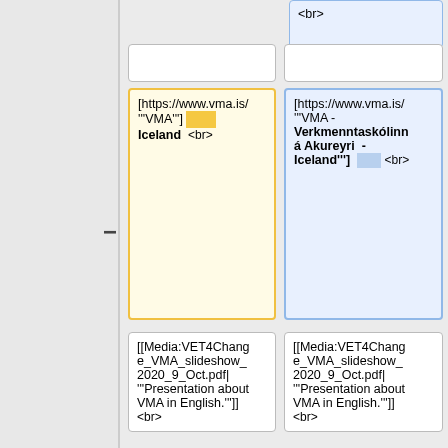<br>
(empty cell)
(empty cell)
[https://www.vma.is/ '''VMA'''] — Iceland <br>
[https://www.vma.is/ '''VMA - Verkmenntaskólinn á Akureyri  - Iceland'''] <br>
[[Media:VET4Change_VMA_slideshow_2020_9_Oct.pdf| '''Presentation about VMA in English.''']] <br>
[[Media:VET4Change_VMA_slideshow_2020_9_Oct.pdf| '''Presentation about VMA in English.''']] <br>
[[Media:VET4Change_Kynning_Islenska_Slides.pdf| '''Glærur um VET4Change verkefnið á íslensku, okt 2021.''']] <br>
[[Media:VET4Change_Kynning_Islenska_Slides.pdf| '''Glærur um VET4Change verkefnið á íslensku, okt 2021.''']] <br>
[[Media:ElEcoTeam